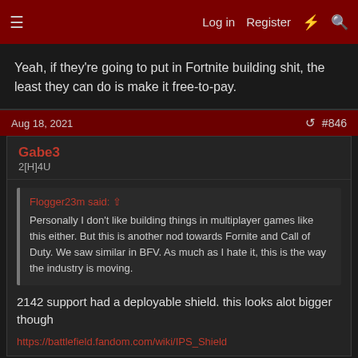Log in  Register  ⚡  🔍
Yeah, if they're going to put in Fortnite building shit, the least they can do is make it free-to-pay.
Aug 18, 2021  #846
Gabe3
2[H]4U
Flogger23m said: ↑
Personally I don't like building things in multiplayer games like this either. But this is another nod towards Fornite and Call of Duty. We saw similar in BFV. As much as I hate it, this is the way the industry is moving.
2142 support had a deployable shield. this looks alot bigger though
https://battlefield.fandom.com/wiki/IPS_Shield